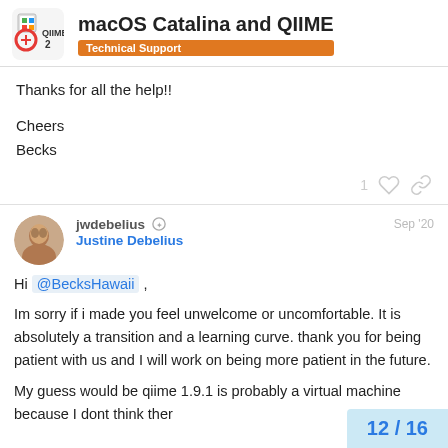macOS Catalina and QIIME — Technical Support
Thanks for all the help!!
Cheers
Becks
jwdebelius  Justine Debelius  Sep '20
Hi @BecksHawaii ,
Im sorry if i made you feel unwelcome or uncomfortable. It is absolutely a transition and a learning curve. thank you for being patient with us and I will work on being more patient in the future.
My guess would be qiime 1.9.1 is probably a virtual machine because I dont think ther
12 / 16